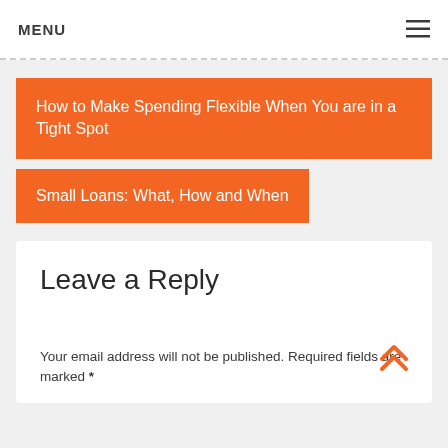MENU
How to Make Spending Flexible When You are in a Tight Spot
Small Loans: What, How and When
Leave a Reply
Your email address will not be published. Required fields are marked *